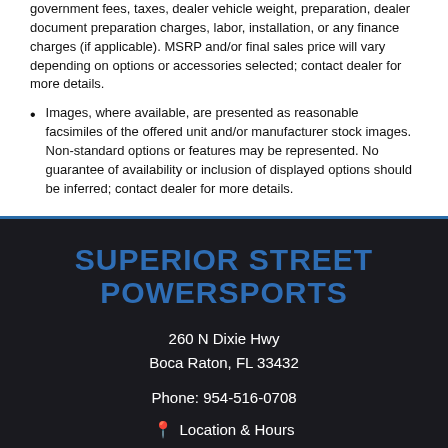government fees, taxes, dealer vehicle weight, preparation, dealer document preparation charges, labor, installation, or any finance charges (if applicable). MSRP and/or final sales price will vary depending on options or accessories selected; contact dealer for more details.
Images, where available, are presented as reasonable facsimiles of the offered unit and/or manufacturer stock images. Non-standard options or features may be represented. No guarantee of availability or inclusion of displayed options should be inferred; contact dealer for more details.
SUPERIOR STREET POWERSPORTS
260 N Dixie Hwy
Boca Raton, FL 33432
Phone: 954-516-0708
Location & Hours